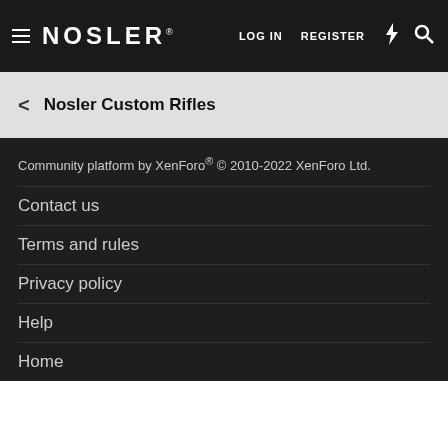NOSLER® LOG IN REGISTER
Nosler Custom Rifles
Community platform by XenForo® © 2010-2022 XenForo Ltd.
Contact us
Terms and rules
Privacy policy
Help
Home